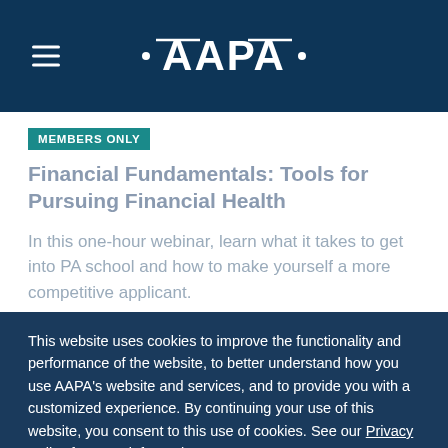AAPA
MEMBERS ONLY
Financial Fundamentals: Tools for Pursuing Financial Health
In this one-hour webinar, learn what it takes to get into PA school and how to make yourself a more competitive applicant.
This website uses cookies to improve the functionality and performance of the website, to better understand how you use AAPA's website and services, and to provide you with a customized experience. By continuing your use of this website, you consent to this use of cookies. See our Privacy Policy for more information.
GOT IT!